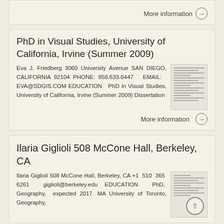More information →
PhD in Visual Studies, University of California, Irvine (Summer 2009)
Eva J. Friedberg 3060 University Avenue SAN DIEGO, CALIFORNIA 92104 PHONE: 858.633.6447 EMAIL: EVA@SDGIS.COM EDUCATION PhD in Visual Studies, University of California, Irvine (Summer 2009) Dissertation
More information →
Ilaria Giglioli 508 McCone Hall, Berkeley, CA
Ilaria Giglioli 508 McCone Hall, Berkeley, CA +1 510 365 6261 giglioli@berkeley.edu EDUCATION PhD, Geography, expected 2017. MA University of Toronto, Geography,